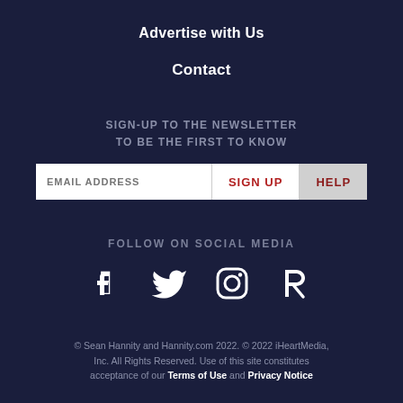Advertise with Us
Contact
SIGN-UP TO THE NEWSLETTER TO BE THE FIRST TO KNOW
EMAIL ADDRESS | SIGN UP | HELP
FOLLOW ON SOCIAL MEDIA
[Figure (illustration): Social media icons: Facebook, Twitter, Instagram, Parler]
© Sean Hannity and Hannity.com 2022. © 2022 iHeartMedia, Inc. All Rights Reserved. Use of this site constitutes acceptance of our Terms of Use and Privacy Notice